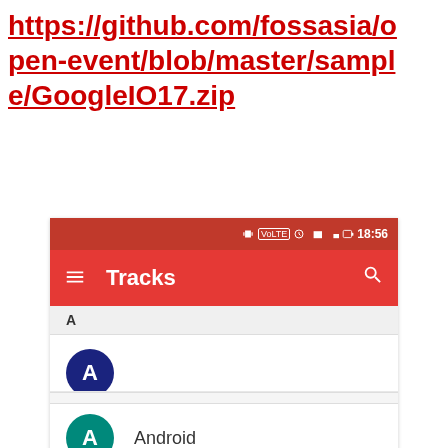https://github.com/fossasia/open-event/blob/master/sample/GoogleIO17.zip
[Figure (screenshot): Android app screenshot showing a 'Tracks' screen with a red toolbar, status bar showing 18:56, and a list with section headers 'A' and 'F'. Under 'A' there is a partially visible blue circle avatar and an 'Android' item with teal avatar. Under 'F' there is a 'Firebase' item with orange avatar. A scroll-to-top button is visible in the bottom right.]